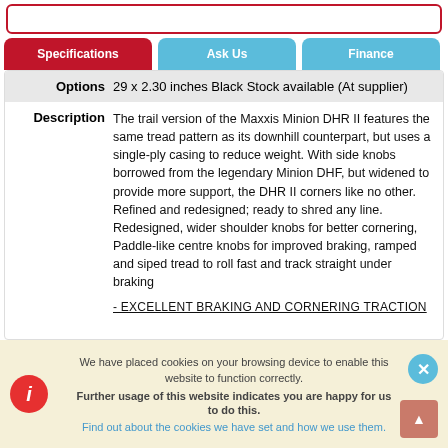Specifications | Ask Us | Finance
| Field | Value |
| --- | --- |
| Options | 29 x 2.30 inches Black Stock available (At supplier) |
| Description | The trail version of the Maxxis Minion DHR II features the same tread pattern as its downhill counterpart, but uses a single-ply casing to reduce weight. With side knobs borrowed from the legendary Minion DHF, but widened to provide more support, the DHR II corners like no other. Refined and redesigned; ready to shred any line. Redesigned, wider shoulder knobs for better cornering, Paddle-like centre knobs for improved braking, ramped and siped tread to roll fast and track straight under braking

- EXCELLENT BRAKING AND CORNERING TRACTION |
We have placed cookies on your browsing device to enable this website to function correctly. Further usage of this website indicates you are happy for us to do this. Find out about the cookies we have set and how we use them.